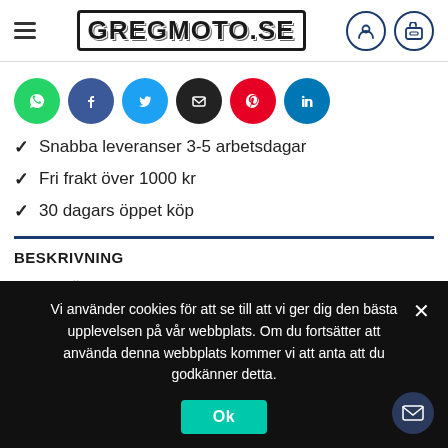GREGMOTO.SE
[Figure (other): Row of social sharing buttons: WhatsApp (green), Facebook (dark blue), Twitter (light blue), Email (black), Pinterest (red), LinkedIn (blue)]
Snabba leveranser 3-5 arbetsdagar
Fri frakt över 1000 kr
30 dagars öppet köp
BESKRIVNING
VARUMÄRKE
Vi använder cookies för att se till att vi ger dig den bästa upplevelsen på vår webbplats. Om du fortsätter att använda denna webbplats kommer vi att anta att du godkänner detta.